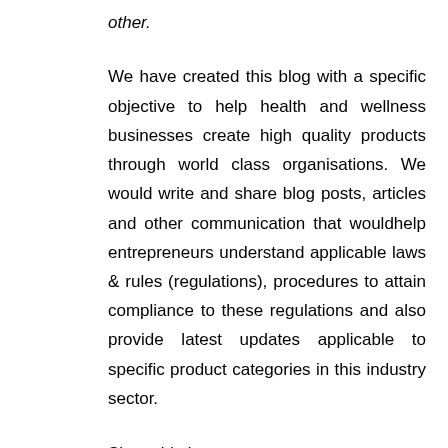other.
We have created this blog with a specific objective to help health and wellness businesses create high quality products through world class organisations. We would write and share blog posts, articles and other communication that wouldhelp entrepreneurs understand applicable laws & rules (regulations), procedures to attain compliance to these regulations and also provide latest updates applicable to specific product categories in this industry sector.
Since this is a very vast area to cover, we propose to focus at present on Medicine products, Medical devices, Food & Nutritionproducts, Cosmetics and Wellness products and organisations associated with these business ventures.